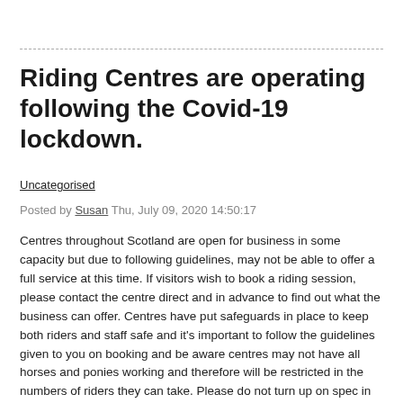Riding Centres are operating following the Covid-19 lockdown.
Uncategorised
Posted by Susan Thu, July 09, 2020 14:50:17
Centres throughout Scotland are open for business in some capacity but due to following guidelines, may not be able to offer a full service at this time. If visitors wish to book a riding session, please contact the centre direct and in advance to find out what the business can offer. Centres have put safeguards in place to keep both riders and staff safe and it's important to follow the guidelines given to you on booking and be aware centres may not have all horses and ponies working and therefore will be restricted in the numbers of riders they can take. Please do not turn up on spec in the hope a centre can take you out. All bookings must be made in advance which will allow centres to plan their bookings and put all necessary safety measures in place for your visit.